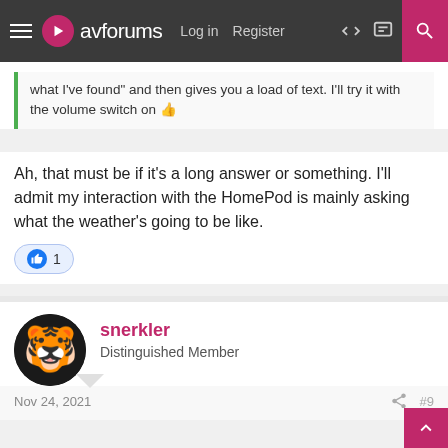avforums  Log in  Register
what I've found" and then gives you a load of text. I'll try it with the volume switch on 👍
Ah, that must be if it's a long answer or something. I'll admit my interaction with the HomePod is mainly asking what the weather's going to be like.
👍 1
snerkler
Distinguished Member
Nov 24, 2021  #9
In the end I've gone for the Echo, my wife's interest is mainly asking questions and asking the smart hub to do things rather than play music and from what I've read Alexa is better for this.
If I was buying it for me I'd have bought the Apple HomeHub though 🤔